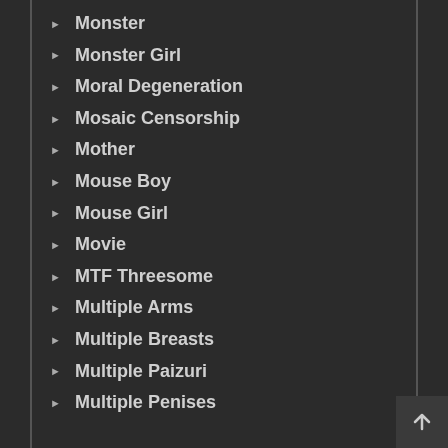Monster
Monster Girl
Moral Degeneration
Mosaic Censorship
Mother
Mouse Boy
Mouse Girl
Movie
MTF Threesome
Multiple Arms
Multiple Breasts
Multiple Paizuri
Multiple Penises